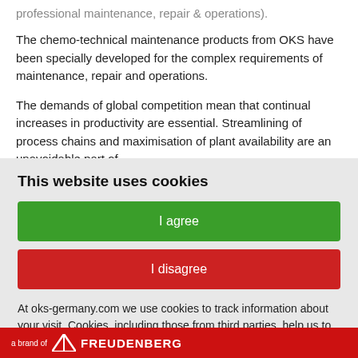professional maintenance, repair & operations).
The chemo-technical maintenance products from OKS have been specially developed for the complex requirements of maintenance, repair and operations.
The demands of global competition mean that continual increases in productivity are essential. Streamlining of process chains and maximisation of plant availability are an unavoidable part of
This website uses cookies
I agree
I disagree
At oks-germany.com we use cookies to track information about your visit. Cookies, including those from third parties, help us to improve our website and make you tailor-made offers to suit your
a brand of FREUDENBERG